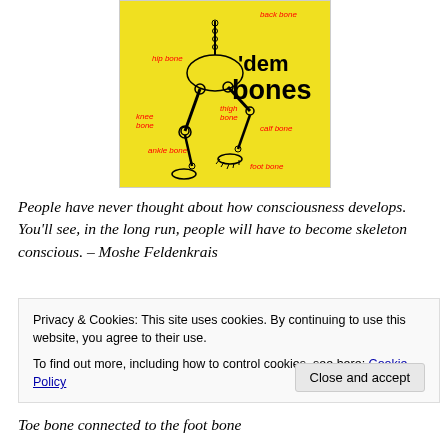[Figure (illustration): Book cover of 'dem bones' on yellow background showing a skeleton with labeled bones (back bone, hip bone, thigh bone, knee bone, calf bone, ankle bone, foot bone). Title text in bold black reads 'dem bones'.]
People have never thought about how consciousness develops. You'll see, in the long run, people will have to become skeleton conscious. – Moshe Feldenkrais
Privacy & Cookies: This site uses cookies. By continuing to use this website, you agree to their use.
To find out more, including how to control cookies, see here: Cookie Policy
Close and accept
Toe bone connected to the foot bone